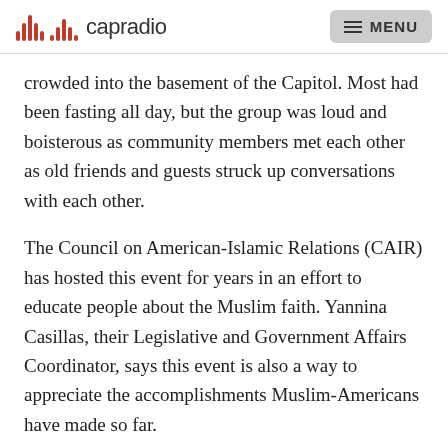capradio | MENU
crowded into the basement of the Capitol. Most had been fasting all day, but the group was loud and boisterous as community members met each other as old friends and guests struck up conversations with each other.
The Council on American-Islamic Relations (CAIR) has hosted this event for years in an effort to educate people about the Muslim faith. Yannina Casillas, their Legislative and Government Affairs Coordinator, says this event is also a way to appreciate the accomplishments Muslim-Americans have made so far.
“You know, when our nation is a little divided on politics, it’s nice to see the California State Capitol being able to host an event celebrating Ramadan and the contributions of Muslims,” Casillas says.